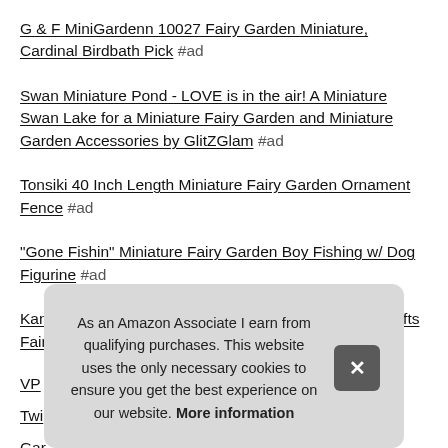G & F MiniGardenn 10027 Fairy Garden Miniature, Cardinal Birdbath Pick #ad
Swan Miniature Pond - LOVE is in the air! A Miniature Swan Lake for a Miniature Fairy Garden and Miniature Garden Accessories by GlitZGlam #ad
Tonsiki 40 Inch Length Miniature Fairy Garden Ornament Fence #ad
"Gone Fishin" Miniature Fairy Garden Boy Fishing w/ Dog Figurine #ad
Kangnice 10Pcs Miniature Flower Moss Bonsai DIY Crafts Fairy Garden Landscape Decor #ad
VP [partially hidden]
Twi [partially hidden]
Gar [partially hidden]
Top [partially hidden]
As an Amazon Associate I earn from qualifying purchases. This website uses the only necessary cookies to ensure you get the best experience on our website. More information